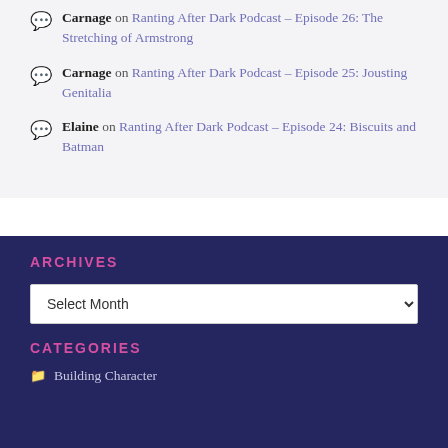Carnage on Ranting After Dark Podcast – Episode 26: The Stretching of Armstrong
Carnage on Ranting After Dark Podcast – Episode 25: Jousting Genitalia
Elaine on Ranting After Dark Podcast – Episode 24: Biscuits and Batman
ARCHIVES
Select Month
CATEGORIES
Building Character